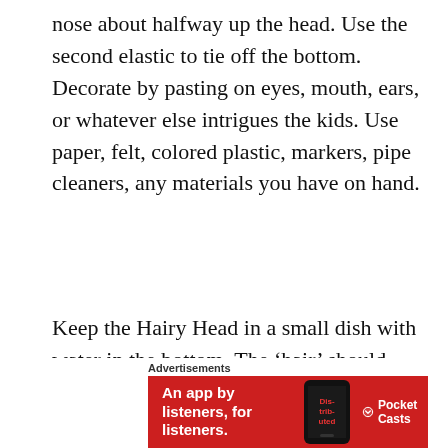nose about halfway up the head. Use the second elastic to tie off the bottom. Decorate by pasting on eyes, mouth, ears, or whatever else intrigues the kids. Use paper, felt, colored plastic, markers, pipe cleaners, any materials you have on hand.
Keep the Hairy Head in a small dish with water in the bottom. The ‘hair’ should sprout in less than a week. Kids can style their hair with elastics, clips, and scissors. (Warning: My daughter decided to cut her own hair after giving her Hairy Head a trim!)
Advertisements
[Figure (infographic): Red advertisement banner for Pocket Casts app with text 'An app by listeners, for listeners.' and a phone image with 'Distributed' text on screen, and Pocket Casts logo on right.]